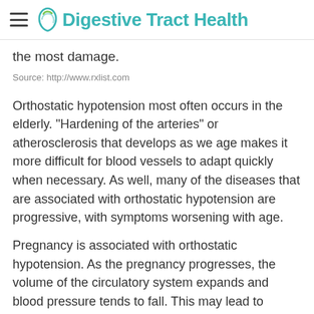Digestive Tract Health
the most damage.
Source: http://www.rxlist.com
Orthostatic hypotension most often occurs in the elderly. "Hardening of the arteries" or atherosclerosis that develops as we age makes it more difficult for blood vessels to adapt quickly when necessary. As well, many of the diseases that are associated with orthostatic hypotension are progressive, with symptoms worsening with age.
Pregnancy is associated with orthostatic hypotension. As the pregnancy progresses, the volume of the circulatory system expands and blood pressure tends to fall. This may lead to lightheadedness when